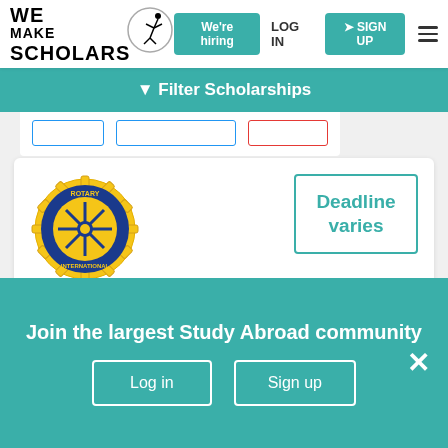[Figure (logo): We Make Scholars logo with stylized figure and circular emblem]
We're hiring
LOG IN
SIGN UP
Filter Scholarships
[Figure (logo): Rotary International circular logo with blue and gold gear design]
Deadline varies
Rotary Foundation Global Scholarship Grants For Development 2022
Masters, PhD
Join the largest Study Abroad community
Log in
Sign up